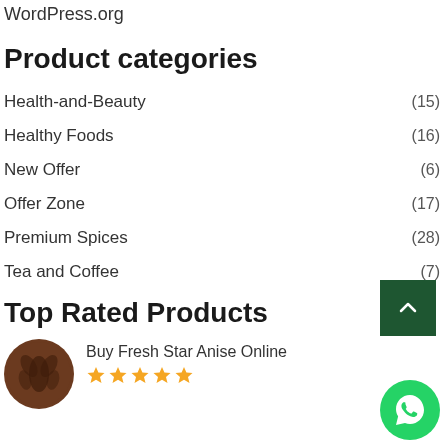WordPress.org
Product categories
Health-and-Beauty (15)
Healthy Foods (16)
New Offer (6)
Offer Zone (17)
Premium Spices (28)
Tea and Coffee (7)
Top Rated Products
Buy Fresh Star Anise Online